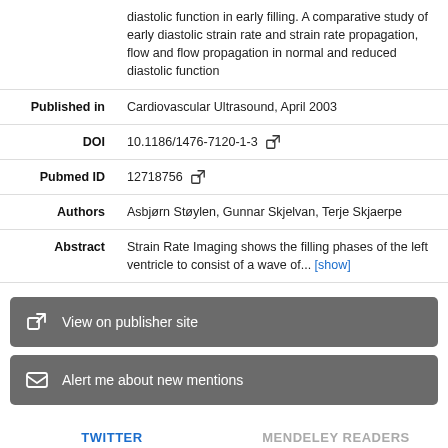| Field | Value |
| --- | --- |
|  | diastolic function in early filling. A comparative study of early diastolic strain rate and strain rate propagation, flow and flow propagation in normal and reduced diastolic function |
| Published in | Cardiovascular Ultrasound, April 2003 |
| DOI | 10.1186/1476-7120-1-3 |
| Pubmed ID | 12718756 |
| Authors | Asbjørn Støylen, Gunnar Skjelvan, Terje Skjaerpe |
| Abstract | Strain Rate Imaging shows the filling phases of the left ventricle to consist of a wave of... [show] |
View on publisher site
Alert me about new mentions
TWITTER
MENDELEY READERS